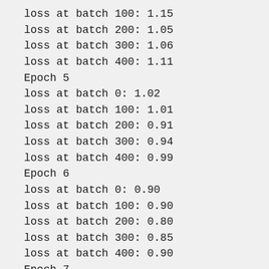loss at batch 100: 1.15
loss at batch 200: 1.05
loss at batch 300: 1.06
loss at batch 400: 1.11
Epoch 5
loss at batch 0: 1.02
loss at batch 100: 1.01
loss at batch 200: 0.91
loss at batch 300: 0.94
loss at batch 400: 0.99
Epoch 6
loss at batch 0: 0.90
loss at batch 100: 0.90
loss at batch 200: 0.80
loss at batch 300: 0.85
loss at batch 400: 0.90
Epoch 7
loss at batch 0: 0.82
loss at batch 100: 0.82